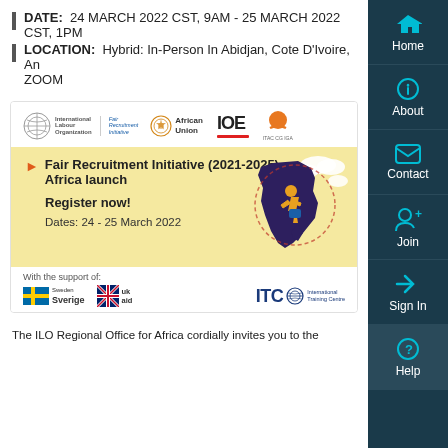DATE: 24 MARCH 2022 CST, 9AM - 25 MARCH 2022 CST, 1PM
LOCATION: Hybrid: In-Person In Abidjan, Cote D'Ivoire, And ZOOM
[Figure (illustration): Event promotional image with logos of ILO Fair Recruitment Initiative, African Union, IOE, and ITAC. Yellow banner showing 'Fair Recruitment Initiative (2021-2025) Africa launch', 'Register now!', 'Dates: 24 - 25 March 2022'. Supporters: Sweden Sverige, UK aid, ITC. Africa continent illustration with person figure.]
The ILO Regional Office for Africa cordially invites you to the